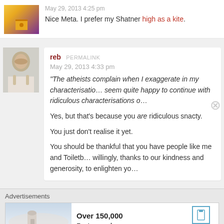May 29, 2013 4:25 pm
Nice Meta. I prefer my Shatner high as a kite.
reb  PERMALINK
May 29, 2013 4:33 pm
“The atheists complain when I exaggerate in my characterisatio... seem quite happy to continue with ridiculous characterisations o...
Yes, but that’s because you are ridiculous snacty.
You just don’t realise it yet.
You should be thankful that you have people like me and Toiletb... willingly, thanks to our kindness and generosity, to enlighten yo...
Advertisements
Over 150,000
5-star reviews
REPORT THIS AD